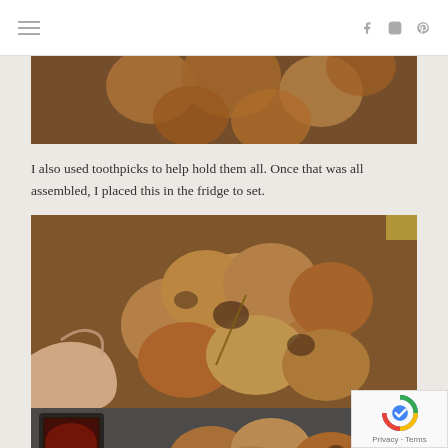Navigation header with hamburger menu and social icons (Facebook, Instagram, Pinterest)
[Figure (photo): Photo of baked pastry puffs on a wooden board, viewed from above, partially cropped at top]
I also used toothpicks to help hold them all. Once that was all assembled, I placed this in the fridge to set.
[Figure (photo): Photo of a hand holding a stack of baked pastry puffs with toothpicks on a wooden board]
[Figure (photo): Photo of a cup with dark sauce and pastry puffs, partially visible at bottom of page]